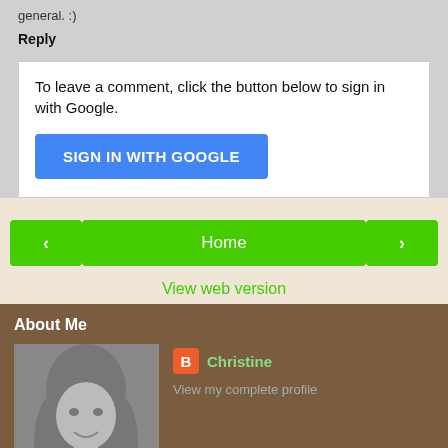general. :)
Reply
To leave a comment, click the button below to sign in with Google.
[Figure (screenshot): Blue 'SIGN IN WITH GOOGLE' button]
[Figure (screenshot): Navigation buttons: left arrow, Home, right arrow in green]
View web version
About Me
[Figure (photo): Black and white photo of a woman with blonde hair]
Christine
View my complete profile
Powered by Blogger.